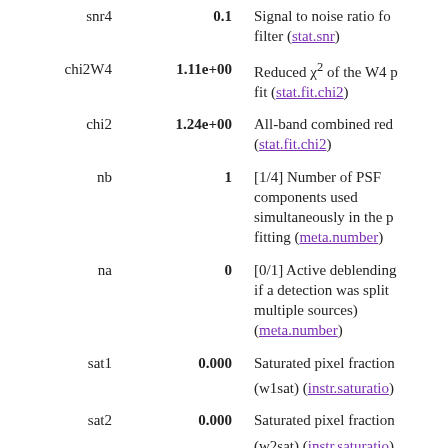| Name | Value | Description |
| --- | --- | --- |
| snr4 | 0.1 | Signal to noise ratio for filter (stat.snr) |
| chi2W4 | 1.11e+00 | Reduced χ² of the W4 p fit (stat.fit.chi2) |
| chi2 | 1.24e+00 | All-band combined red (stat.fit.chi2) |
| nb | 1 | [1/4] Number of PSF components used simultaneously in the p fitting (meta.number) |
| na | 0 | [0/1] Active deblending if a detection was split multiple sources) (meta.number) |
| sat1 | 0.000 | Saturated pixel fraction (w1sat) (instr.saturation) |
| sat2 | 0.000 | Saturated pixel fraction (w2sat) (instr.saturation) |
| sat3 | 0.000 | Saturated pixel fraction (w3sat) (instr.saturation) |
| sat4 | 0.000 | Saturated pixel fraction (w4sat) (instr.saturation) |